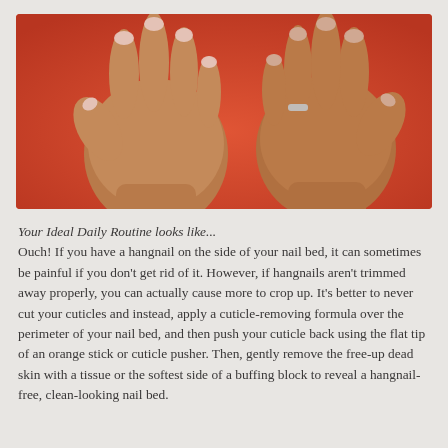[Figure (photo): Two hands with manicured nails placed flat on a bright red-orange background. The left hand shows light pink nail polish. A silver ring is visible on the right hand's finger.]
Your Ideal Daily Routine looks like... Ouch! If you have a hangnail on the side of your nail bed, it can sometimes be painful if you don't get rid of it. However, if hangnails aren't trimmed away properly, you can actually cause more to crop up. It's better to never cut your cuticles and instead, apply a cuticle-removing formula over the perimeter of your nail bed, and then push your cuticle back using the flat tip of an orange stick or cuticle pusher. Then, gently remove the free-up dead skin with a tissue or the softest side of a buffing block to reveal a hangnail-free, clean-looking nail bed.